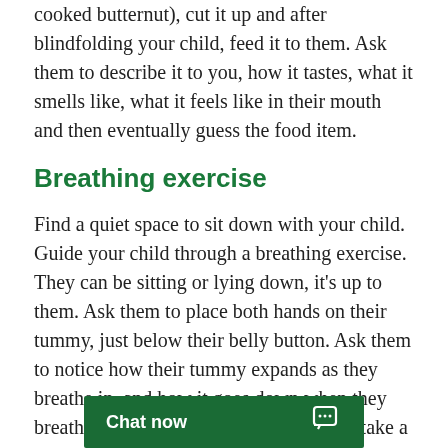cooked butternut), cut it up and after blindfolding your child, feed it to them. Ask them to describe it to you, how it tastes, what it smells like, what it feels like in their mouth and then eventually guess the food item.
Breathing exercise
Find a quiet space to sit down with your child. Guide your child through a breathing exercise. They can be sitting or lying down, it's up to them. Ask them to place both hands on their tummy, just below their belly button. Ask them to notice how their tummy expands as they breathe in, and how it goes down when they breathe out. Mix it up by asking them to take a giant breath in, making their tummy as big as they can, imaginin